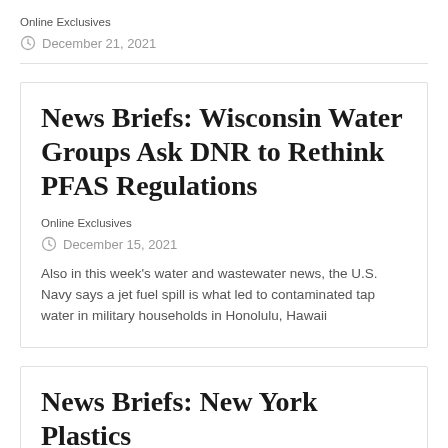Online Exclusives
December 21, 2021
News Briefs: Wisconsin Water Groups Ask DNR to Rethink PFAS Regulations
Online Exclusives
December 15, 2021
Also in this week's water and wastewater news, the U.S. Navy says a jet fuel spill is what led to contaminated tap water in military households in Honolulu, Hawaii
News Briefs: New York Plastics